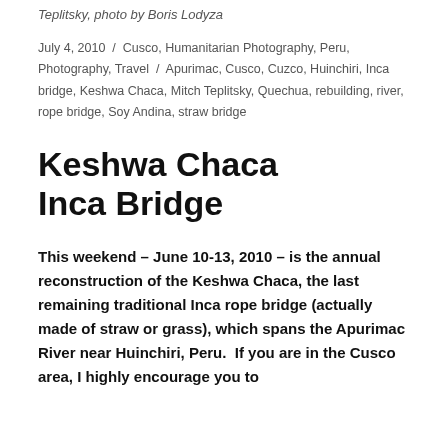Teplitsky, photo by Boris Lodyza
July 4, 2010 / Cusco, Humanitarian Photography, Peru, Photography, Travel / Apurimac, Cusco, Cuzco, Huinchiri, Inca bridge, Keshwa Chaca, Mitch Teplitsky, Quechua, rebuilding, river, rope bridge, Soy Andina, straw bridge
Keshwa Chaca Inca Bridge
This weekend – June 10-13, 2010 – is the annual reconstruction of the Keshwa Chaca, the last remaining traditional Inca rope bridge (actually made of straw or grass), which spans the Apurimac River near Huinchiri, Peru.  If you are in the Cusco area, I highly encourage you to